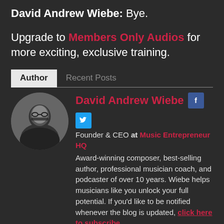David Andrew Wiebe: Bye.
Upgrade to Members Only Audios for more exciting, exclusive training.
Author | Recent Posts
[Figure (photo): Circular black and white portrait photo of David Andrew Wiebe wearing glasses]
David Andrew Wiebe — Founder & CEO at Music Entrepreneur HQ. Award-winning composer, best-selling author, professional musician coach, and podcaster of over 10 years. Wiebe helps musicians like you unlock your full potential. If you'd like to be notified whenever the blog is updated, click here to subscribe.